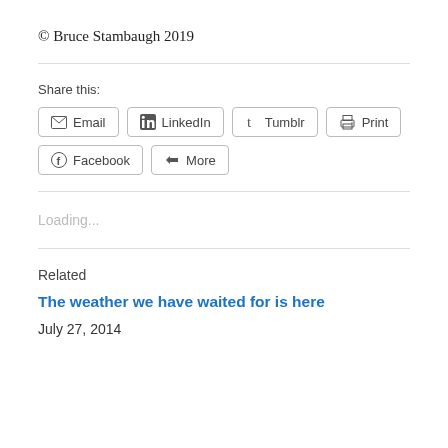© Bruce Stambaugh 2019
Share this:
Email | LinkedIn | Tumblr | Print | Facebook | More
Loading...
Related
The weather we have waited for is here
July 27, 2014